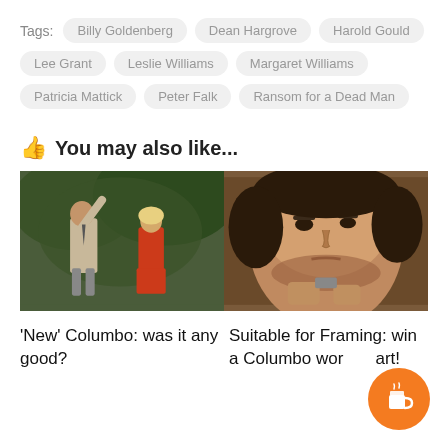Tags: Billy Goldenberg  Dean Hargrove  Harold Gould  Lee Grant  Leslie Williams  Margaret Williams  Patricia Mattick  Peter Falk  Ransom for a Dead Man
👍 You may also like...
[Figure (photo): Two movie stills side by side: left shows a man in a jacket with arm raised and a blonde woman in a red top outdoors; right shows a close-up of a stern-looking man examining something in his hands.]
'New' Columbo: was it any good?
Suitable for Framing: win a Columbo work of art!